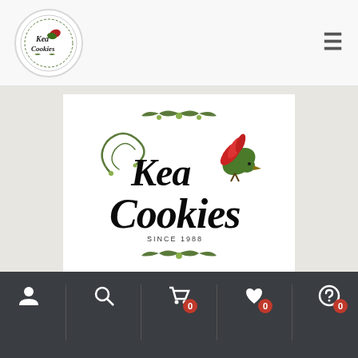[Figure (logo): Kea Cookies circular logo with kea bird and floral design]
[Figure (logo): Large Kea Cookies product logo image — script lettering with kea parrot bird, green floral elements, text 'SINCE 1988']
10 Twin packs of Kea Cookies – 10 flavours – Gluten, Wheat, Dairy, Egg Free
Great tasting gluten,  wheat and egg free Kea Cookies. Made in New Zealand since 1988 10 x Twin packs
[Figure (screenshot): Bottom navigation bar with icons: person, search, shopping cart (badge 0), heart (badge 0), question mark (badge 0)]